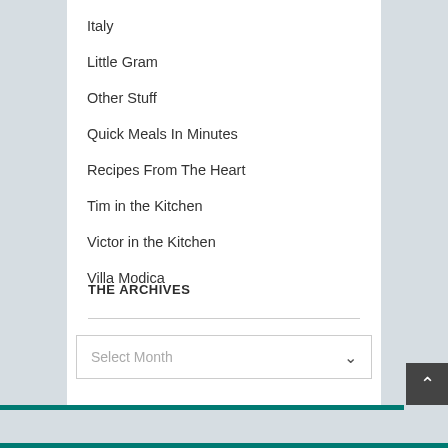Italy
Little Gram
Other Stuff
Quick Meals In Minutes
Recipes From The Heart
Tim in the Kitchen
Victor in the Kitchen
Villa Modica
THE ARCHIVES
Select Month